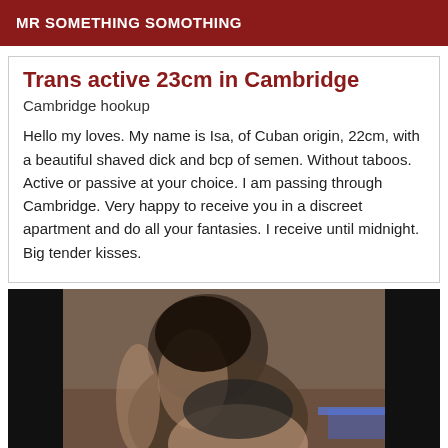MR SOMETHING SOMOTHING
Trans active 23cm in Cambridge
Cambridge hookup
Hello my loves. My name is Isa, of Cuban origin, 22cm, with a beautiful shaved dick and bcp of semen. Without taboos. Active or passive at your choice. I am passing through Cambridge. Very happy to receive you in a discreet apartment and do all your fantasies. I receive until midnight. Big tender kisses.
[Figure (photo): Photo of a person from behind, wearing dark lingerie, in a dimly lit room with blue lighting visible in the background.]